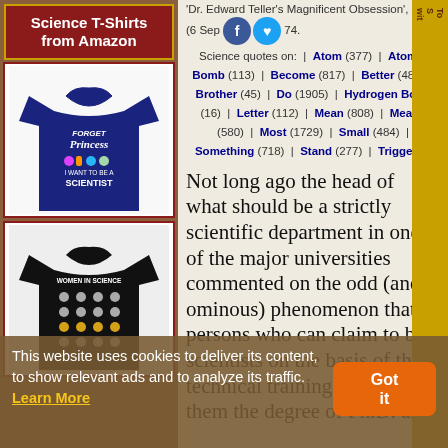Science T-Shirts from Amazon
[Figure (photo): Navy blue t-shirt with text 'Forget Princess I Want To Be A Scientist' and science imagery]
[Figure (photo): Black t-shirt with 'Women in Science' design and icons]
'Dr. Edward Teller's Magnificent Obsession', Life (6 Sep 74).
Science quotes on:  |  Atom (377)  |  Atomic Bomb (113)  |  Become (817)  |  Better (486)  |  Brother (45)  |  Do (1905)  |  Hydrogen Bomb (16)  |  Letter (112)  |  Mean (808)  |  Means (580)  |  Most (1729)  |  Small (484)  |  Something (718)  |  Stand (277)  |  Trigger (6)
Not long ago the head of what should be a strictly scientific department in one of the major universities commented on the odd (and ominous) phenomenon that persons who can claim to be scientists on the basis of the technical training that won them the degree of Ph.D. are
This website uses cookies to deliver its content, to show relevant ads and to analyze its traffic. Learn More